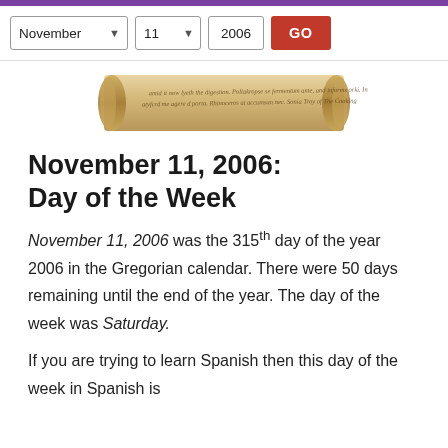Navigation bar with month/day/year selectors and GO button
[Figure (illustration): An aged parchment scroll with decorative rolled edges containing handwritten cursive text, centered on white background]
November 11, 2006: Day of the Week
November 11, 2006 was the 315th day of the year 2006 in the Gregorian calendar. There were 50 days remaining until the end of the year. The day of the week was Saturday.
If you are trying to learn Spanish then this day of the week in Spanish is